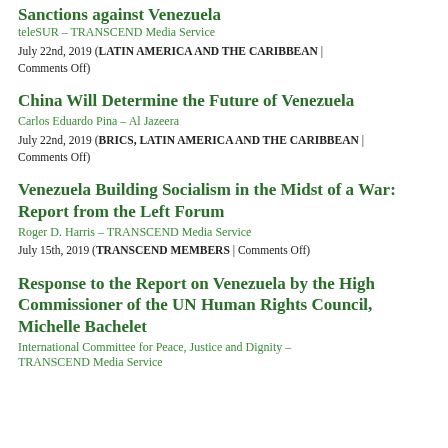Sanctions against Venezuela
teleSUR – TRANSCEND Media Service
July 22nd, 2019 (LATIN AMERICA AND THE CARIBBEAN | Comments Off)
China Will Determine the Future of Venezuela
Carlos Eduardo Pina – Al Jazeera
July 22nd, 2019 (BRICS, LATIN AMERICA AND THE CARIBBEAN | Comments Off)
Venezuela Building Socialism in the Midst of a War: Report from the Left Forum
Roger D. Harris – TRANSCEND Media Service
July 15th, 2019 (TRANSCEND MEMBERS | Comments Off)
Response to the Report on Venezuela by the High Commissioner of the UN Human Rights Council, Michelle Bachelet
International Committee for Peace, Justice and Dignity – TRANSCEND Media Service